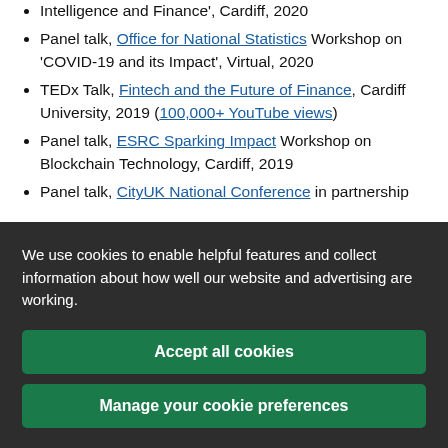Intelligence and Finance', Cardiff, 2020
Panel talk, Office for National Statistics Workshop on 'COVID-19 and its Impact', Virtual, 2020
TEDx Talk, Fintech and the Future of Finance, Cardiff University, 2019 (100,000+ YouTube views)
Panel talk, ESRC Sparking Impact Workshop on Blockchain Technology, Cardiff, 2019
Panel talk, CityUK National Conference in partnership
We use cookies to enable helpful features and collect information about how well our website and advertising are working.
Accept all cookies
Manage your cookie preferences